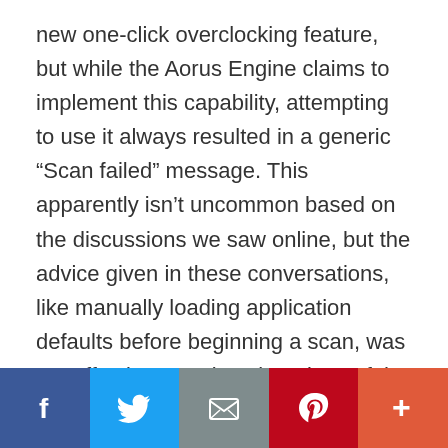new one-click overclocking feature, but while the Aorus Engine claims to implement this capability, attempting to use it always resulted in a generic “Scan failed” message. This apparently isn’t uncommon based on the discussions we saw online, but the advice given in these conversations, like manually loading application defaults before beginning a scan, was not effective. Previous iterations of the utility used to offer more custom clock speeds and operating modes, like a “Silent Mode,” but these seem to have been removed in the latest version of the program available for download, 1.6.6.
[Figure (other): Social sharing bar with Facebook, Twitter, Email, Pinterest, and More (+) buttons]